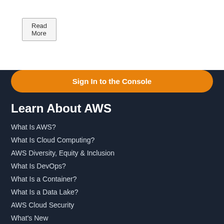Read More
Sign In to the Console
Learn About AWS
What Is AWS?
What Is Cloud Computing?
AWS Diversity, Equity & Inclusion
What Is DevOps?
What Is a Container?
What Is a Data Lake?
AWS Cloud Security
What's New
Blogs